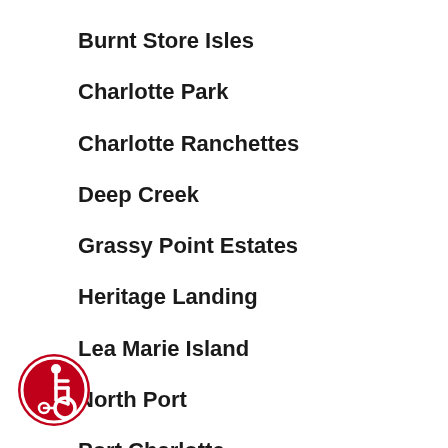Burnt Store Isles
Charlotte Park
Charlotte Ranchettes
Deep Creek
Grassy Point Estates
Heritage Landing
Lea Marie Island
North Port
Port Charlotte
Punta Gorda
Punta Gorda Isles
Section 15
[Figure (illustration): Red circular accessibility icon with wheelchair user symbol in white]